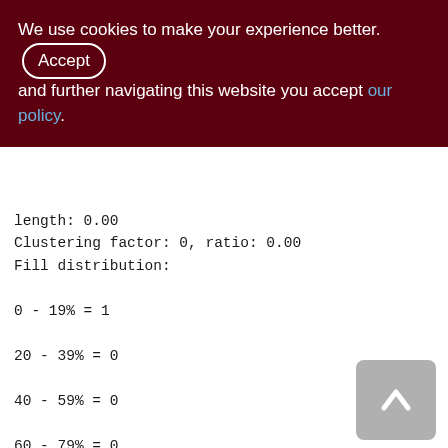We use cookies to make your experience better. By accepting and further navigating this website you accept our policy.
length: 0.00
Clustering factor: 0, ratio: 0.00
Fill distribution:
0 - 19% = 1
20 - 39% = 0
40 - 59% = 0
60 - 79% = 0
80 - 99% = 0

PERF_LOG (163)
Primary pointer page: 352, Index root page: 353
Total formats: 1, used formats: 1
[Figure (other): Scroll-to-top button with upward chevron arrow on grey rounded rectangle background]